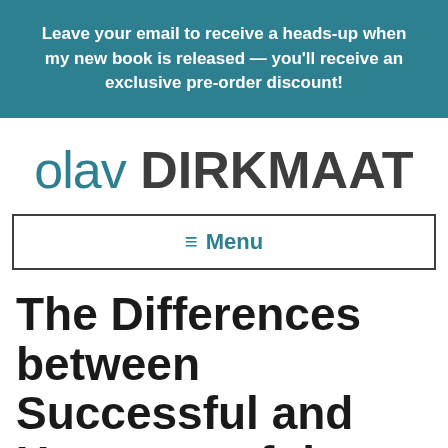Leave your email to receive a heads-up when my new book is released — you'll receive an exclusive pre-order discount!
[Figure (logo): olav DIRKMAAT logo with 'olav' in teal and 'DIRKMAAT' in dark gray bold]
≡ Menu
The Differences between Successful and Unsuccessful